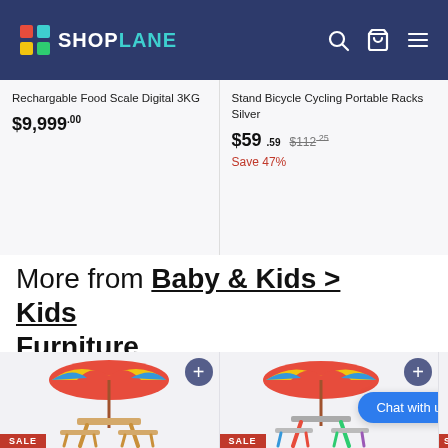ShopLane — navigation bar with logo, search, cart, and menu icons
Rechargable Food Scale Digital 3KG
$9,999.00
Stand Bicycle Cycling Portable Racks Silver
$59.59  $112.25  Save 47%
More from Baby & Kids > Kids Furniture
[Figure (photo): Kids wooden picnic table with colorful umbrella (red/yellow/blue), SALE badge]
[Figure (photo): Kids colorful picnic table with red/green/blue frame and colorful umbrella, SALE badge, Chat with us button overlay]